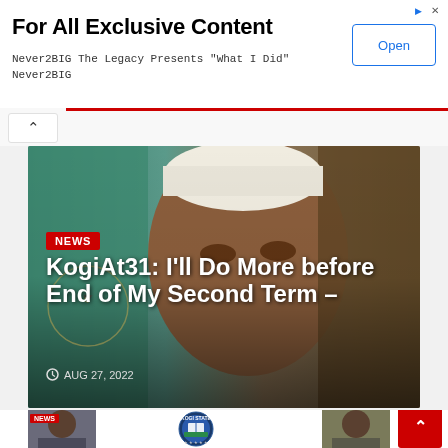[Figure (screenshot): Advertisement banner for Never2BIG The Legacy app with Open button]
For All Exclusive Content
Never2BIG The Legacy Presents "What I Did" Never2BIG
[Figure (photo): News article card: Close-up photo of a Nigerian official wearing a white cap, with Nigerian coat of arms flag in background. Red NEWS badge overlay, headline KogiAt31: I'll Do More before End of My Second Term –, date AUG 27, 2022]
KogiAt31: I'll Do More before End of My Second Term –
AUG 27, 2022
[Figure (screenshot): Partially visible second news row with Kogi State government logo seal and figures on left and right]